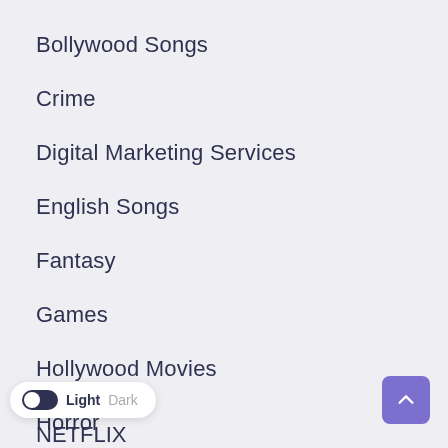Bollywood Songs
Crime
Digital Marketing Services
English Songs
Fantasy
Games
Hollywood Movies
Horror
M... Movies
NETFLIX